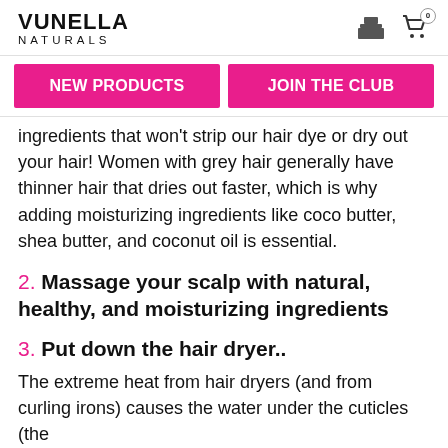VUNELLA NATURALS
[Figure (infographic): Navigation buttons: NEW PRODUCTS and JOIN THE CLUB in pink/magenta]
ingredients that won't strip our hair dye or dry out your hair! Women with grey hair generally have thinner hair that dries out faster, which is why adding moisturizing ingredients like coco butter, shea butter, and coconut oil is essential.
2. Massage your scalp with natural, healthy, and moisturizing ingredients
3. Put down the hair dryer..
The extreme heat from hair dryers (and from curling irons) causes the water under the cuticles (the